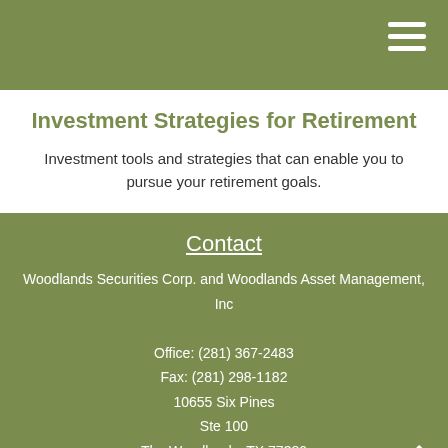Investment Strategies for Retirement
Investment tools and strategies that can enable you to pursue your retirement goals.
Contact
Woodlands Securities Corp. and Woodlands Asset Management, Inc
Office: (281) 367-2483
Fax: (281) 298-1182
10655 Six Pines
Ste 100
The Woodlands, TX 77380
info@woodlandssecurities.com